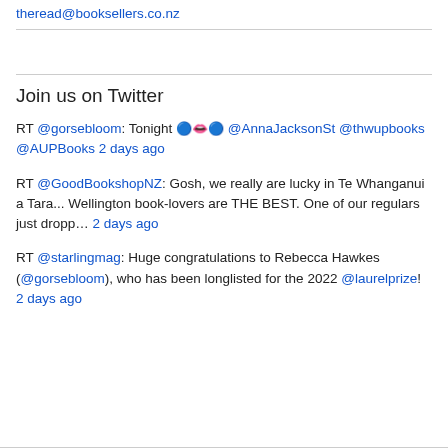theread@booksellers.co.nz
Join us on Twitter
RT @gorsebloom: Tonight 🔵👄🔵 @AnnaJacksonSt @thwupbooks @AUPBooks 2 days ago
RT @GoodBookshopNZ: Gosh, we really are lucky in Te Whanganui a Tara... Wellington book-lovers are THE BEST. One of our regulars just dropp… 2 days ago
RT @starlingmag: Huge congratulations to Rebecca Hawkes (@gorsebloom), who has been longlisted for the 2022 @laurelprize! 2 days ago